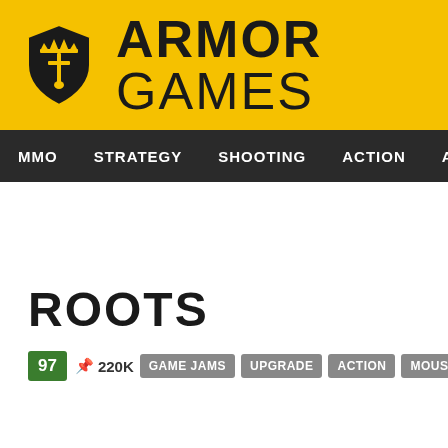[Figure (logo): Armor Games logo with yellow shield containing a sword and crown icon, and bold text ARMOR GAMES]
MMO  STRATEGY  SHOOTING  ACTION  ADVENTURE  P
ROOTS
97  220K  GAME JAMS  UPGRADE  ACTION  MOUSE ONLY  HTML